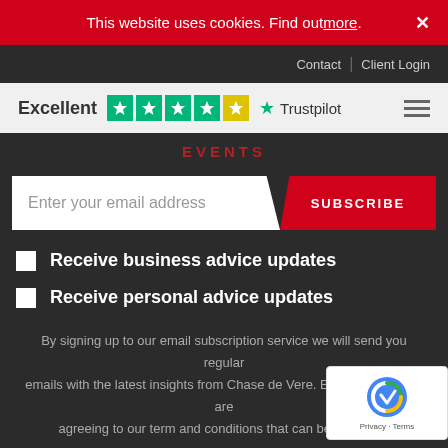This website uses cookies. Find out more. ×
Contact | Client Login
[Figure (logo): Trustpilot rating: Excellent with 4.5 stars and Trustpilot logo]
EVENTS
Enter your email address SUBSCRIBE
Receive business advice updates
Receive personal advice updates
By signing up to our email subscription service we will send you regular emails with the latest insights from Chase de Vere. By signing up you are agreeing to our term and conditions that can be found her
[Figure (other): reCAPTCHA badge with Privacy - Terms]